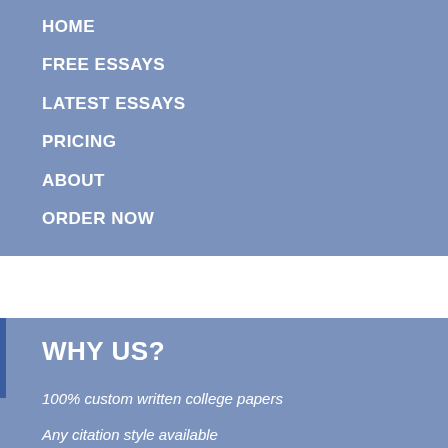HOME
FREE ESSAYS
LATEST ESSAYS
PRICING
ABOUT
ORDER NOW
WHY US?
100% custom written college papers
Any citation style available
Any subject, any difficulty
24/7 service available
Privacy guaranteed